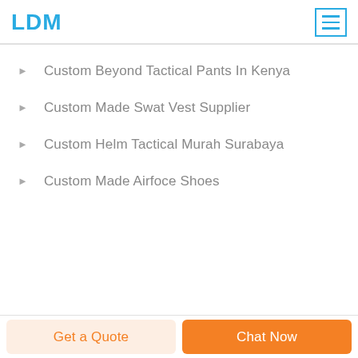LDM
Custom Beyond Tactical Pants In Kenya
Custom Made Swat Vest Supplier
Custom Helm Tactical Murah Surabaya
Custom Made Airfoce Shoes
Get a Quote | Chat Now